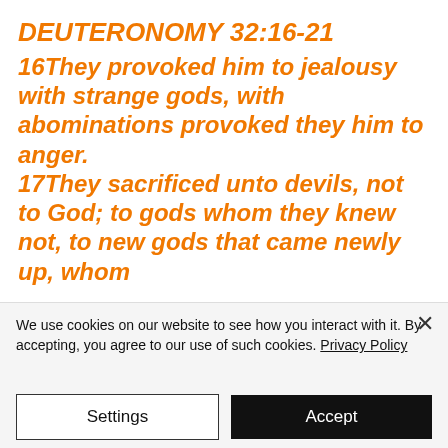DEUTERONOMY 32:16-21
16They provoked him to jealousy with strange gods, with abominations provoked they him to anger. 17They sacrificed unto devils, not to God; to gods whom they knew not, to new gods that came newly up, whom
We use cookies on our website to see how you interact with it. By accepting, you agree to our use of such cookies. Privacy Policy
Settings
Accept